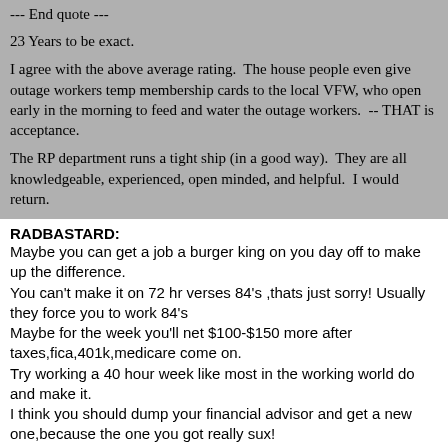--- End quote ---
23 Years to be exact.
I agree with the above average rating.  The house people even give outage workers temp membership cards to the local VFW, who open early in the morning to feed and water the outage workers.  -- THAT is acceptance.
The RP department runs a tight ship (in a good way).  They are all knowledgeable, experienced, open minded, and helpful.  I would return.
RADBASTARD:
Maybe you can get a job a burger king on you day off to make up the difference.
You can't make it on 72 hr verses 84's ,thats just sorry! Usually they force you to work 84's
Maybe for the week you'll net $100-$150 more after taxes,fica,401k,medicare come on.
Try working a 40 hour week like most in the working world do and make it.
I think you should dump your financial advisor and get a new one,because the one you got really sux!
It never fails to amaze me how some people have been doing this for 25 years and are crying more mouth and im broke as the day